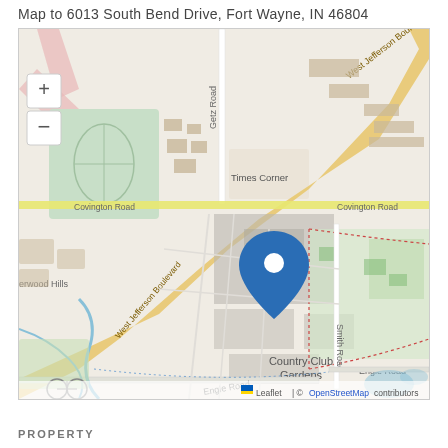Map to 6013 South Bend Drive, Fort Wayne, IN 46804
[Figure (map): Street map centered on 6013 South Bend Drive, Fort Wayne, IN 46804. Map shows surrounding neighborhoods including Greenlawn Memorial Park, Times Corner, Country Club Gardens, and streets including Covington Road, West Jefferson Boulevard, Getz Road, Smith Road, and Engle Road. A blue location pin marks the property. Map tiles from OpenStreetMap with Leaflet attribution shown in bottom right corner.]
PROPERTY